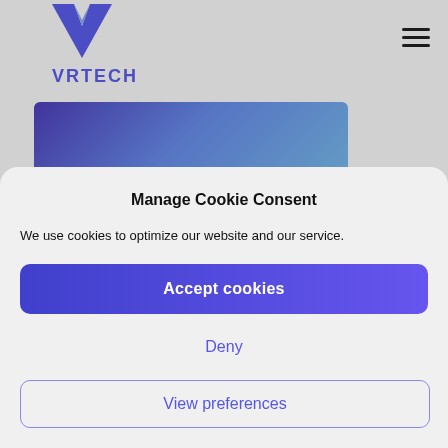VRTECH
[Figure (screenshot): VRTECH website banner showing 'in the Vacation Rental - tech Companies Changed Course' text over a blue-purple gradient background]
Pandemic Pivots in the
Manage Cookie Consent
We use cookies to optimize our website and our service.
Accept cookies
Deny
View preferences